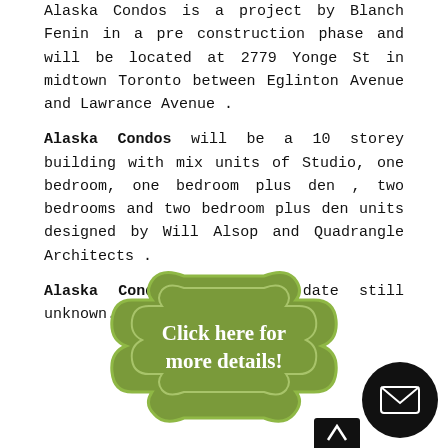Alaska Condos is a project by Blanch Fenin in a pre construction phase and will be located at 2779 Yonge St in midtown Toronto between Eglinton Avenue and Lawrance Avenue .
Alaska Condos will be a 10 storey building with mix units of Studio, one bedroom, one bedroom plus den , two bedrooms and two bedroom plus den units designed by Will Alsop and Quadrangle Architects . Alaska Condos completion date still unknown.
[Figure (illustration): Decorative badge/button shape in olive green with white text reading 'Click here for more details!']